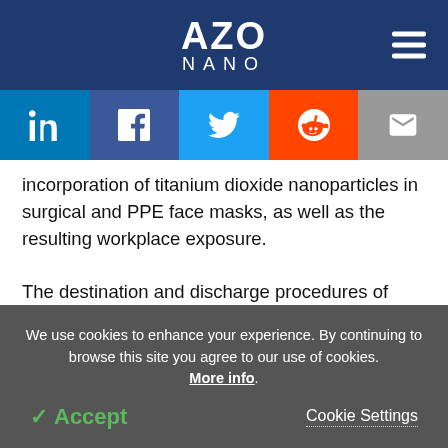AZO NANO
incorporation of titanium dioxide nanoparticles in surgical and PPE face masks, as well as the resulting workplace exposure.
The destination and discharge procedures of nanoparticles from face masks are still unclear; for example, nanoparticles might be discharged as
We use cookies to enhance your experience. By continuing to browse this site you agree to our use of cookies. More info.
✓ Accept
Cookie Settings